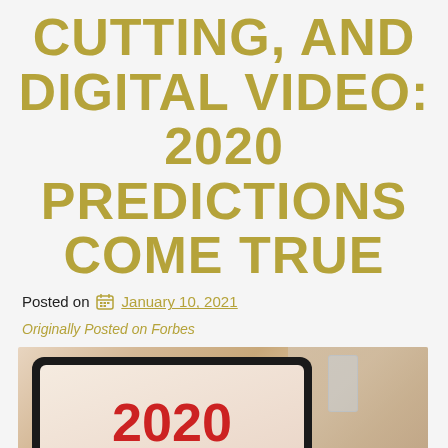CUTTING, AND DIGITAL VIDEO: 2020 PREDICTIONS COME TRUE
Posted on  January 10, 2021
Originally Posted on Forbes
[Figure (photo): Tablet displaying '2020 TRENDS' text with red numbers on a light background, with a red coffee cup and glass visible in the background on a wooden surface.]